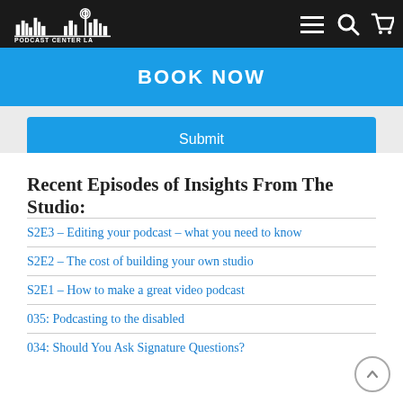PODCAST CENTER LA
BOOK NOW
Submit
Recent Episodes of Insights From The Studio:
S2E3 – Editing your podcast – what you need to know
S2E2 – The cost of building your own studio
S2E1 – How to make a great video podcast
035: Podcasting to the disabled
034: Should You Ask Signature Questions?